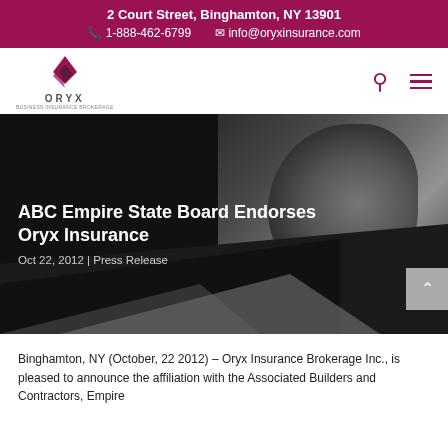2 Court Street, Binghamton, NY 13901 | 1-888-462-6799 | info@oryxinsurance.com
[Figure (logo): Oryx Insurance logo with stylized diamond/arrow mark above text ORYX]
[Figure (photo): Dark hero banner with handshake photograph on right side, dark angular shape overlay]
ABC Empire State Board Endorses Oryx Insurance
Oct 22, 2012 | Press Release
Binghamton, NY (October, 22 2012) – Oryx Insurance Brokerage Inc., is pleased to announce the affiliation with the Associated Builders and Contractors, Empire